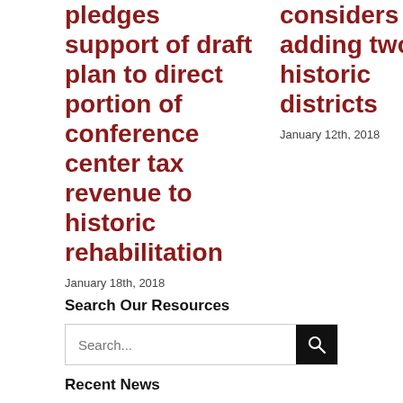pledges support of draft plan to direct portion of conference center tax revenue to historic rehabilitation
January 18th, 2018
considers adding two new historic districts
January 12th, 2018
Search Our Resources
Recent News